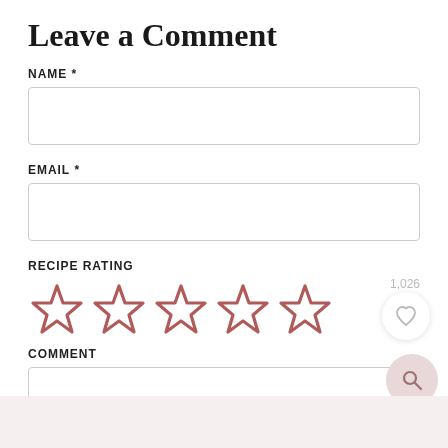Leave a Comment
NAME *
EMAIL *
RECIPE RATING
[Figure (illustration): Five empty star rating icons in a reddish-brown outline color]
COMMENT